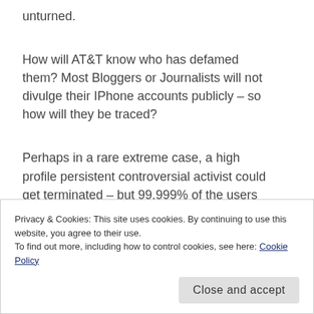unturned.
How will AT&T know who has defamed them? Most Bloggers or Journalists will not divulge their IPhone accounts publicly – so how will they be traced?
Perhaps in a rare extreme case, a high profile persistent controversial activist could get terminated – but 99.999% of the users have nothing to worry about.
Privacy & Cookies: This site uses cookies. By continuing to use this website, you agree to their use.
To find out more, including how to control cookies, see here: Cookie Policy
Close and accept